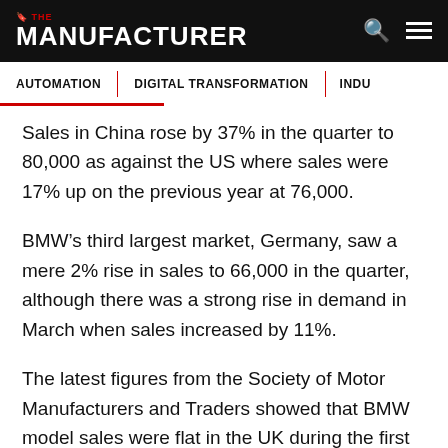THE MANUFACTURER
AUTOMATION | DIGITAL TRANSFORMATION | INDU
Sales in China rose by 37% in the quarter to 80,000 as against the US where sales were 17% up on the previous year at 76,000.
BMW's third largest market, Germany, saw a mere 2% rise in sales to 66,000 in the quarter, although there was a strong rise in demand in March when sales increased by 11%.
The latest figures from the Society of Motor Manufacturers and Traders showed that BMW model sales were flat in the UK during the first quarter at 30,000, while Mini sales fell by 6% to 11,581.